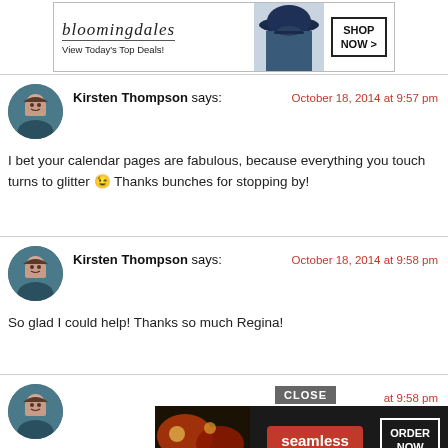[Figure (screenshot): Bloomingdale's advertisement banner: logo, tagline 'View Today's Top Deals!', fashion photo, and 'SHOP NOW >' button]
Kirsten Thompson says: October 18, 2014 at 9:57 pm
I bet your calendar pages are fabulous, because everything you touch turns to glitter 😉 Thanks bunches for stopping by!
Kirsten Thompson says: October 18, 2014 at 9:58 pm
So glad I could help! Thanks so much Regina!
at 9:58 pm
[Figure (screenshot): Seamless food delivery advertisement banner with pizza image, red Seamless badge, and 'ORDER NOW' button. Has a CLOSE button overlay.]